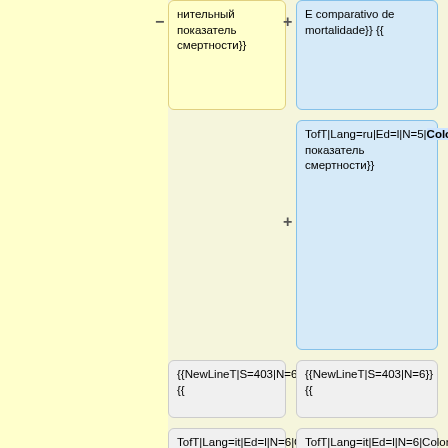нительный показатель смертности}}
E comparativo de mortalidade}} {{
TofT|Lang=ru|Ed=l|N=5|Color=yes|Te=Сравнительный показатель смертности}}
{{NewLineT|S=403|N=6}} {{
{{NewLineT|S=403|N=6}} {{
TofT|Lang=it|Ed=l|N=6|Color=yes|Te=quoziente di mortalità tipo}}{{
TofT|Lang=it|Ed=l|N=6|Color=yes|Te=quoziente di mortalità tipo}}{{
TofT|Lang=it|Ed=l|N=6|SubN=2|Te=coefficiente tipo di mortalità}}{{
TofT|Lang=it|Ed=l|N=6|SubN=2|Te=coefficiente tipo di mortalità}}{{